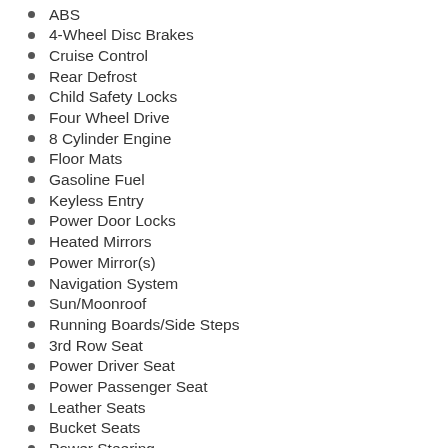ABS
4-Wheel Disc Brakes
Cruise Control
Rear Defrost
Child Safety Locks
Four Wheel Drive
8 Cylinder Engine
Floor Mats
Gasoline Fuel
Keyless Entry
Power Door Locks
Heated Mirrors
Power Mirror(s)
Navigation System
Sun/Moonroof
Running Boards/Side Steps
3rd Row Seat
Power Driver Seat
Power Passenger Seat
Leather Seats
Bucket Seats
Power Steering
Adjustable Steering Wheel